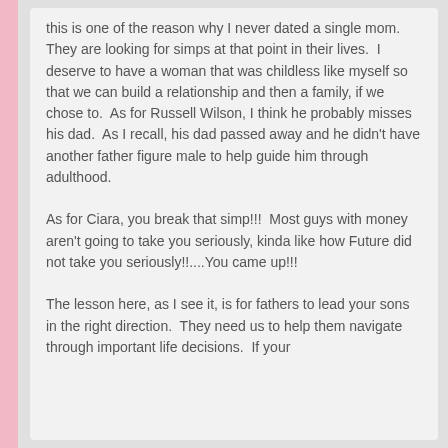this is one of the reason why I never dated a single mom.  They are looking for simps at that point in their lives.  I deserve to have a woman that was childless like myself so that we can build a relationship and then a family, if we chose to.  As for Russell Wilson, I think he probably misses his dad.  As I recall, his dad passed away and he didn't have another father figure male to help guide him through adulthood.

As for Ciara, you break that simp!!!  Most guys with money aren't going to take you seriously, kinda like how Future did not take you seriously!!....You came up!!!

The lesson here, as I see it, is for fathers to lead your sons in the right direction.  They need us to help them navigate through important life decisions.  If your